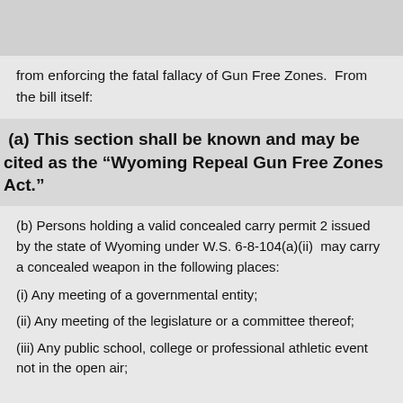from enforcing the fatal fallacy of Gun Free Zones.  From the bill itself:
(a) This section shall be known and may be cited as the “Wyoming Repeal Gun Free Zones Act.”
(b) Persons holding a valid concealed carry permit 2 issued by the state of Wyoming under W.S. 6-8-104(a)(ii)  may carry a concealed weapon in the following places:
(i) Any meeting of a governmental entity;
(ii) Any meeting of the legislature or a committee thereof;
(iii) Any public school, college or professional athletic event not in the open air;